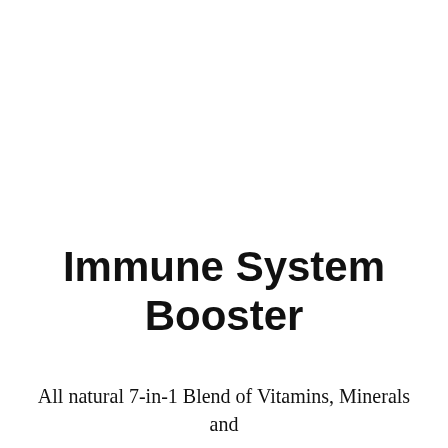Immune System Booster
All natural 7-in-1 Blend of Vitamins, Minerals and